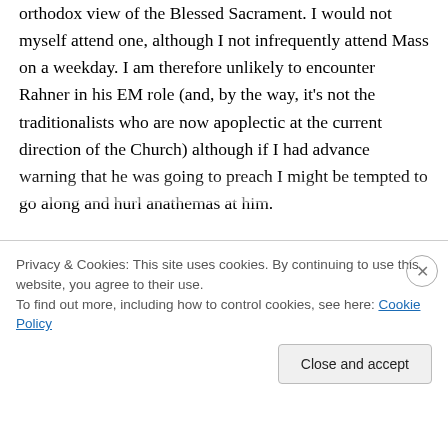orthodox view of the Blessed Sacrament. I would not myself attend one, although I not infrequently attend Mass on a weekday. I am therefore unlikely to encounter Rahner in his EM role (and, by the way, it's not the traditionalists who are now apoplectic at the current direction of the Church) although if I had advance warning that he was going to preach I might be tempted to go along and hurl anathemas at him.
Mike, the idea of your prowling the hospital wards with a pwyful of Hosts makes you sound
Privacy & Cookies: This site uses cookies. By continuing to use this website, you agree to their use.
To find out more, including how to control cookies, see here: Cookie Policy